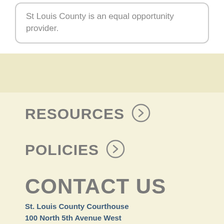St Louis County is an equal opportunity provider.
RESOURCES
POLICIES
CONTACT US
St. Louis County Courthouse
100 North 5th Avenue West
Duluth, MN 55802